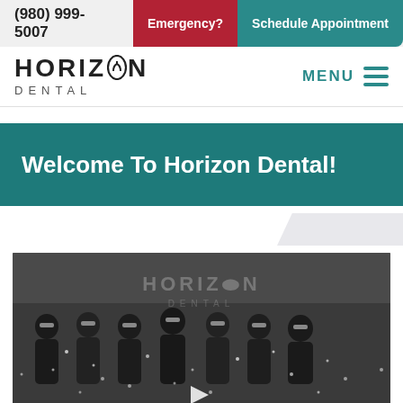(980) 999-5007  Emergency?  Schedule Appointment
[Figure (logo): Horizon Dental logo with tooth icon in letter O]
MENU
Welcome To Horizon Dental!
[Figure (photo): Group photo of Horizon Dental staff in dark clothing wearing sunglasses, celebrating with confetti in front of Horizon Dental sign on brick wall. Play button visible indicating video.]